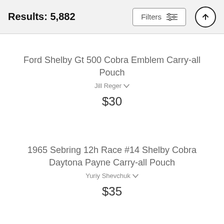Results: 5,882
Ford Shelby Gt 500 Cobra Emblem Carry-all Pouch
Jill Reger
$30
1965 Sebring 12h Race #14 Shelby Cobra Daytona Payne Carry-all Pouch
Yuriy Shevchuk
$35